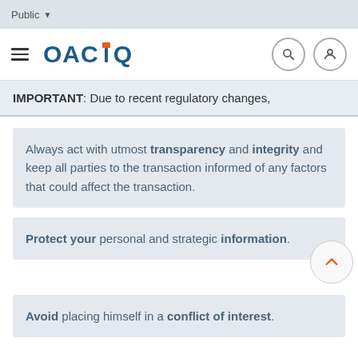Public
[Figure (logo): OACIQ logo with hamburger menu, search and user icons]
IMPORTANT: Due to recent regulatory changes,
Always act with utmost transparency and integrity and keep all parties to the transaction informed of any factors that could affect the transaction.
Protect your personal and strategic information.
Avoid placing himself in a conflict of interest.